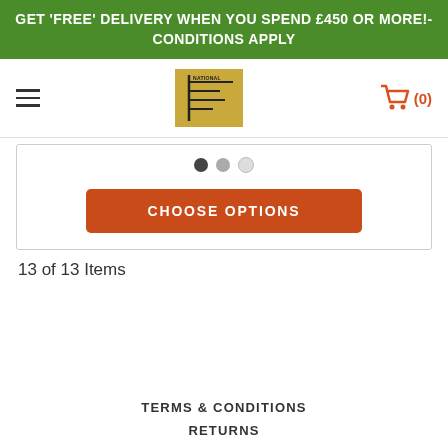GET 'FREE' DELIVERY WHEN YOU SPEND £450 OR MORE!- CONDITIONS APPLY
[Figure (logo): Navigation bar with hamburger menu, National Tyres and Autocare logo, and shopping cart icon showing (0) items]
[Figure (screenshot): Product card with carousel dot indicators and a CHOOSE OPTIONS button]
13 of 13 Items
TERMS & CONDITIONS
RETURNS